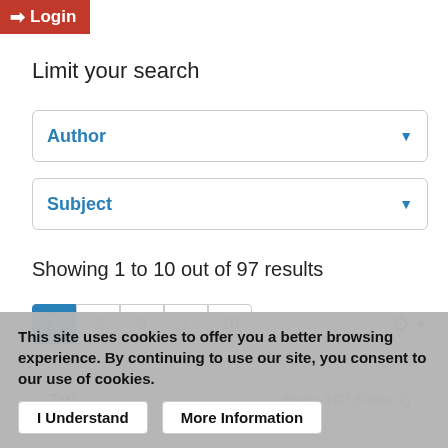Login
Limit your search
Author
Subject
Showing 1 to 10 out of 97 results
1 2 3 > 10
Text  Evans-TCP (Phase 1)
This site uses cookies to offer you a better browsing experience. By continuing to use our site, you consent to our use of cookies.